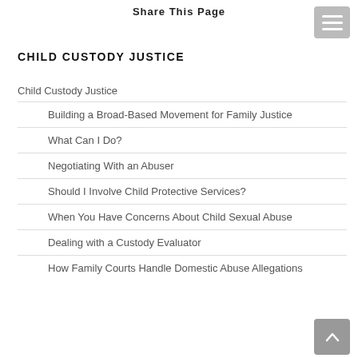Share This Page
CHILD CUSTODY JUSTICE
Child Custody Justice
Building a Broad-Based Movement for Family Justice
What Can I Do?
Negotiating With an Abuser
Should I Involve Child Protective Services?
When You Have Concerns About Child Sexual Abuse
Dealing with a Custody Evaluator
How Family Courts Handle Domestic Abuse Allegations